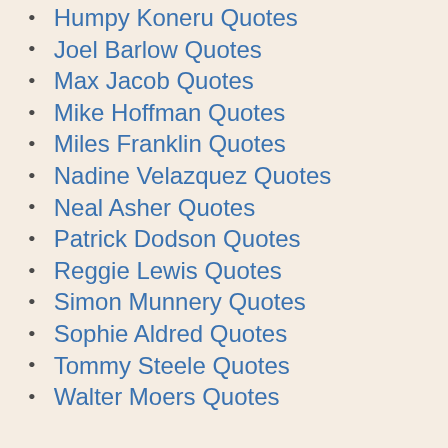Humpy Koneru Quotes
Joel Barlow Quotes
Max Jacob Quotes
Mike Hoffman Quotes
Miles Franklin Quotes
Nadine Velazquez Quotes
Neal Asher Quotes
Patrick Dodson Quotes
Reggie Lewis Quotes
Simon Munnery Quotes
Sophie Aldred Quotes
Tommy Steele Quotes
Walter Moers Quotes